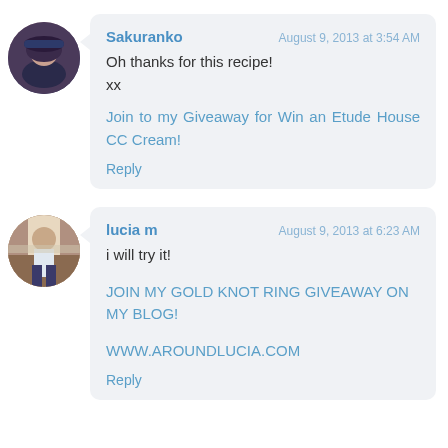[Figure (photo): Avatar photo of Sakuranko, a woman with dark hair wearing a hat]
Sakuranko
August 9, 2013 at 3:54 AM
Oh thanks for this recipe!
xx
Join to my Giveaway for Win an Etude House CC Cream!
Reply
[Figure (photo): Avatar photo of lucia m, a woman standing outdoors]
lucia m
August 9, 2013 at 6:23 AM
i will try it!
JOIN MY GOLD KNOT RING GIVEAWAY ON MY BLOG!
WWW.AROUNDLUCIA.COM
Reply